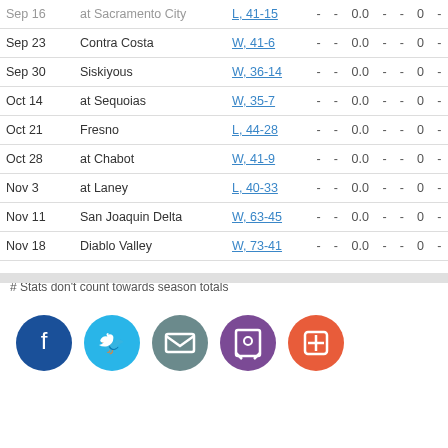| Date | Opponent | Result |  |  | Stat1 |  |  | Stat2 |  |
| --- | --- | --- | --- | --- | --- | --- | --- | --- | --- |
| Sep 16 | at Sacramento City | L, 41-15 | - | - | 0.0 | - | - | 0 | - |
| Sep 23 | Contra Costa | W, 41-6 | - | - | 0.0 | - | - | 0 | - |
| Sep 30 | Siskiyous | W, 36-14 | - | - | 0.0 | - | - | 0 | - |
| Oct 14 | at Sequoias | W, 35-7 | - | - | 0.0 | - | - | 0 | - |
| Oct 21 | Fresno | L, 44-28 | - | - | 0.0 | - | - | 0 | - |
| Oct 28 | at Chabot | W, 41-9 | - | - | 0.0 | - | - | 0 | - |
| Nov 3 | at Laney | L, 40-33 | - | - | 0.0 | - | - | 0 | - |
| Nov 11 | San Joaquin Delta | W, 63-45 | - | - | 0.0 | - | - | 0 | - |
| Nov 18 | Diablo Valley | W, 73-41 | - | - | 0.0 | - | - | 0 | - |
# Stats don't count towards season totals